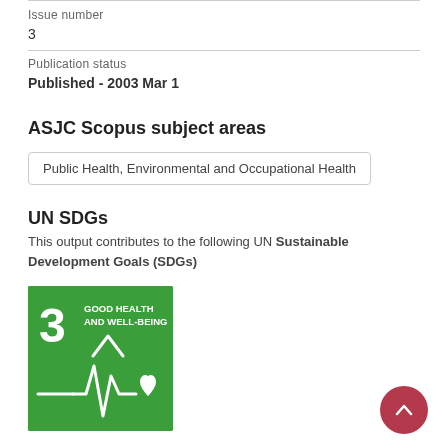Issue number
3
Publication status
Published - 2003 Mar 1
ASJC Scopus subject areas
Public Health, Environmental and Occupational Health
UN SDGs
This output contributes to the following UN Sustainable Development Goals (SDGs)
[Figure (infographic): UN SDG 3 badge - Good Health and Well-Being, green square with number 3 and health/heartbeat icon in white]